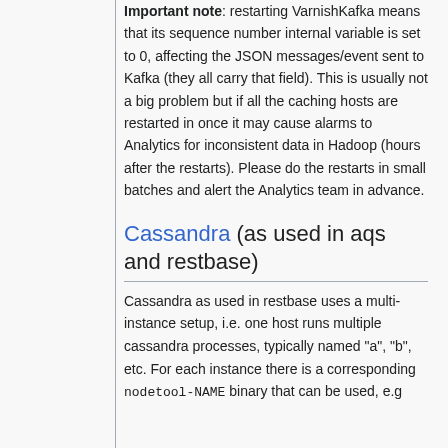Important note: restarting VarnishKafka means that its sequence number internal variable is set to 0, affecting the JSON messages/event sent to Kafka (they all carry that field). This is usually not a big problem but if all the caching hosts are restarted in once it may cause alarms to Analytics for inconsistent data in Hadoop (hours after the restarts). Please do the restarts in small batches and alert the Analytics team in advance.
Cassandra (as used in aqs and restbase)
Cassandra as used in restbase uses a multi-instance setup, i.e. one host runs multiple cassandra processes, typically named "a", "b", etc. For each instance there is a corresponding nodetool-NAME binary that can be used, e.g